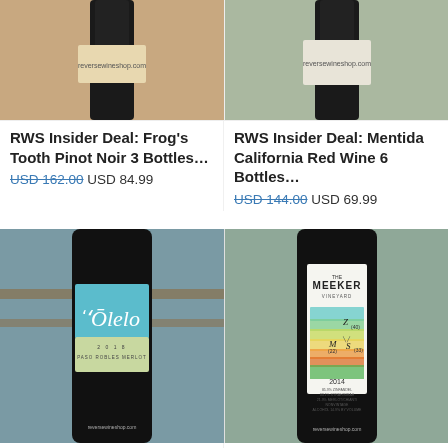[Figure (photo): Top portion of wine bottle with dark glass and label with reversewineshop.com text, left product]
[Figure (photo): Top portion of wine bottle with dark glass, right product]
RWS Insider Deal: Frog's Tooth Pinot Noir 3 Bottles…
USD 162.00 USD 84.99
RWS Insider Deal: Mentida California Red Wine 6 Bottles…
USD 144.00 USD 69.99
[Figure (photo): 'Ōlelo 2018 Paso Robles Merlot wine bottle with teal and light green label, reversewineshop.com on bottom]
[Figure (photo): The Meeker Vineyard 2014 Z-S-M Red Blend wine bottle with white label showing chemical structure diagram with Z(40), S(33), M(22) notation and colorful watercolor background]
RWS Insider Deal: 'Ōlelo Paso Robles Merlot 6
RWS Insider Deal: 2014 Meeker Z-S-M Red Blend 4